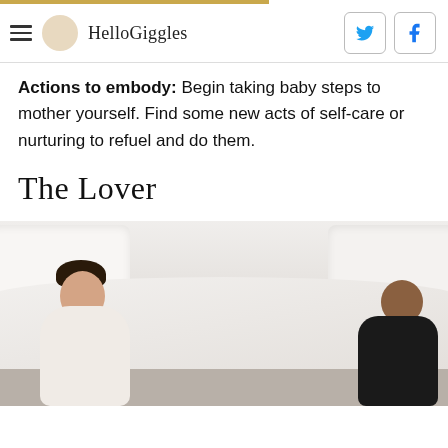HelloGiggles
Actions to embody: Begin taking baby steps to mother yourself. Find some new acts of self-care or nurturing to refuel and do them.
The Lover
[Figure (photo): A couple lying on a bed, laughing and embracing. A woman with dark hair in a black top smiles broadly while a man with dark hair rests below her. White bed sheets and pillows are visible in the background.]